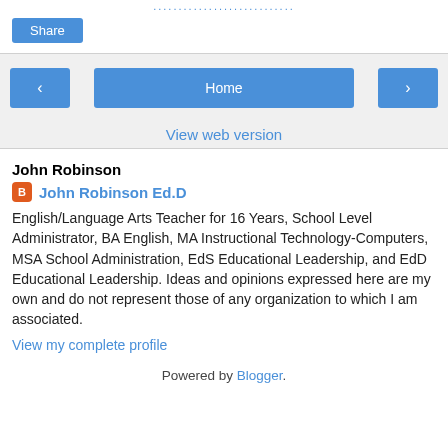…………………………………
Share
Home
View web version
John Robinson
John Robinson Ed.D
English/Language Arts Teacher for 16 Years, School Level Administrator, BA English, MA Instructional Technology-Computers, MSA School Administration, EdS Educational Leadership, and EdD Educational Leadership. Ideas and opinions expressed here are my own and do not represent those of any organization to which I am associated.
View my complete profile
Powered by Blogger.